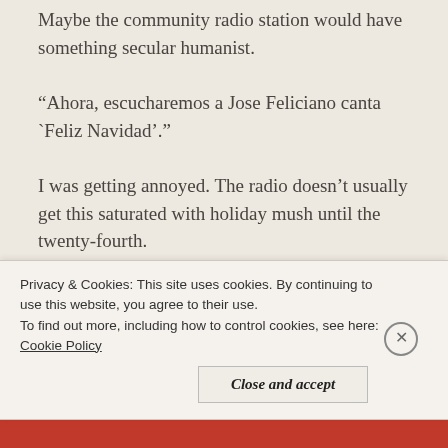Maybe the community radio station would have something secular humanist.
“Ahora, escucharemos a Jose Feliciano canta `Feliz Navidad’.”
I was getting annoyed. The radio doesn’t usually get this saturated with holiday mush until the twenty-fourth.
“This is too weird.” I said to the radio, “Cut that crap out.”
The country station had some Kenny Rogers Christmas
Privacy & Cookies: This site uses cookies. By continuing to use this website, you agree to their use.
To find out more, including how to control cookies, see here: Cookie Policy
Close and accept